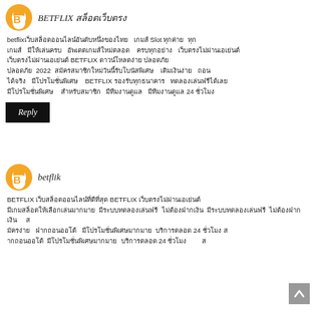BETFLIX สล็อตเว็บตรง
betflixเว็บสล็อตออนไลน์อันดับหนึ่งของไทย เกมส์ Slot ทุกค่าย ทุกเกมส์ มีให้เล่นครบ อัพเดตเกมส์ใหม่ตลอด ครบทุกอย่าง เว็บตรงไม่ผ่านเอเย่นต์ BETFLIX ดาวน์โหลดง่าย ปลอดภัย 2022 สมัครสมาชิกใหม่วันนี้รับโบนัสพิเศษ เติมเงินง่าย ถอนได้จริง BETFLIX รองรับทุกธนาคาร ทดลองเล่นฟรีได้เลย มีโปรโมชั่นพิเศษ สำหรับสมาชิกทุกคน มีทีมงานดูแล 24 ชั่วโมง
Reply
betflik
BETFLIX เว็บสล็อตออนไลน์ที่ดีที่สุด BETFLIX เว็บตรงไม่ผ่านเอเย่นต์ มีเกมสล็อตให้เลือกเล่นมากมาย มีระบบทดลองเล่นฟรี ไม่ต้องฝากเงิน สมัครง่าย ฝากถอนออโต้ มีโปรโมชั่นพิเศษมากมาย บริการตลอด 24 ชั่วโมง